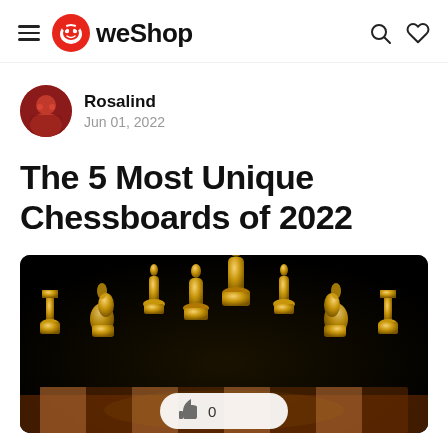weShop
Rosalind
Jun 01, 2022
The 5 Most Unique Chessboards of 2022
[Figure (photo): Golden chess pieces arranged on a wooden chessboard against a dark background, with a like button overlay showing '0' likes]